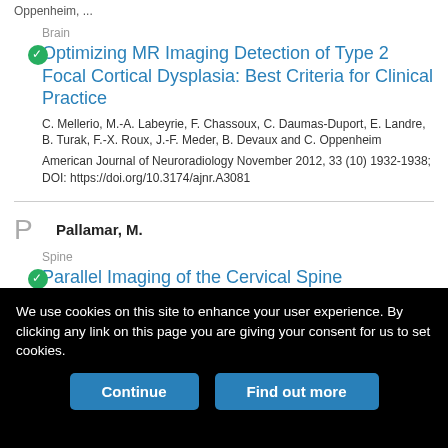Oppenheim, ...
Brain
Optimizing MR Imaging Detection of Type 2 Focal Cortical Dysplasia: Best Criteria for Clinical Practice
C. Mellerio, M.-A. Labeyrie, F. Chassoux, C. Daumas-Duport, E. Landre, B. Turak, F.-X. Roux, J.-F. Meder, B. Devaux and C. Oppenheim
American Journal of Neuroradiology November 2012, 33 (10) 1932-1938; DOI: https://doi.org/10.3174/ajnr.A3081
Pallamar, M.
Spine
Parallel Imaging of the Cervical Spine
We use cookies on this site to enhance your user experience. By clicking any link on this page you are giving your consent for us to set cookies.
Continue
Find out more